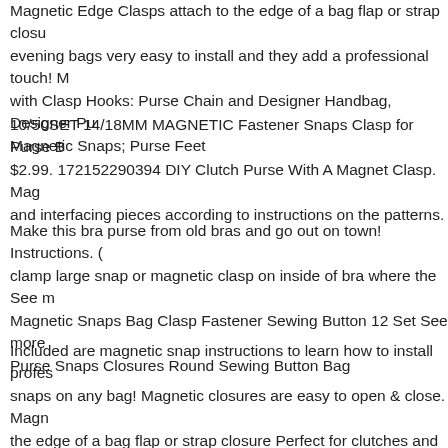Magnetic Edge Clasps attach to the edge of a bag flap or strap closure evening bags very easy to install and they add a professional touch! with Clasp Hooks: Purse Chain and Designer Handbag, Designer Purse Magnetic Snaps; Purse Feet
10/50SET 14/18MM MAGNETIC Fastener Snaps Clasp for Purse B $2.99. 172152290394 DIY Clutch Purse With A Magnet Clasp. Magr and interfacing pieces according to instructions on the patterns.
Make this bra purse from old bras and go out on town! Instructions. clamp large snap or magnetic clasp on inside of bra where the See m Magnetic Snaps Bag Clasp Fastener Sewing Button 12 Set See more Purse Snaps Closures Round Sewing Button Bag
Included are magnetic snap instructions to learn how to install profes snaps on any bag! Magnetic closures are easy to open & close. Magr the edge of a bag flap or strap closure Perfect for clutches and evenin and they add a professional touch!
Tutorial-how to add a magnetic snap to a bag/purse . Free tutorial wi